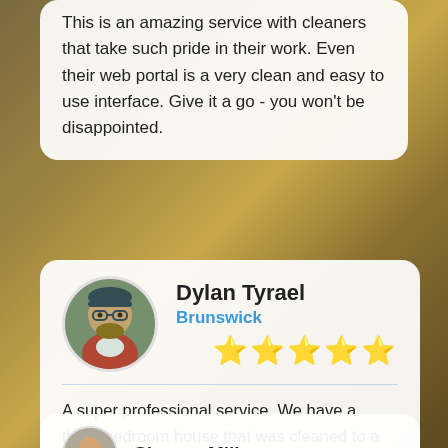This is an amazing service with cleaners that take such pride in their work. Even their web portal is a very clean and easy to use interface. Give it a go - you won't be disappointed.
Dylan Tyrael
Brunswick
[Figure (illustration): 5 gold star rating icons]
A super professional service. We have a three bedroom house that was cleaned to a level that I believe is above and beyond, even for a premium service. The oven clean in particular made the clean. Thank you Terry for liaising with me about the particulars.
Simone Miller